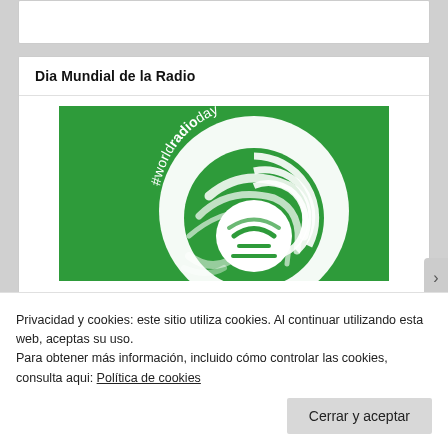Dia Mundial de la Radio
[Figure (illustration): World Radio Day logo on green background: white circular radio wave design with text '#worldradioday' and UNESCO radio icon in the center]
Privacidad y cookies: este sitio utiliza cookies. Al continuar utilizando esta web, aceptas su uso.
Para obtener más información, incluido cómo controlar las cookies, consulta aqui: Política de cookies
Cerrar y aceptar